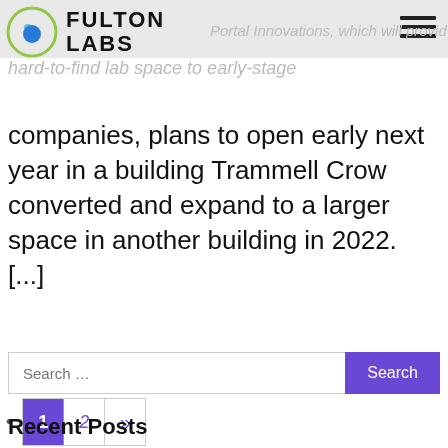[Figure (logo): Fulton Labs logo: green circle with teal dot and blue filled circle inside, next to bold black text 'FULTON LABS']
Portal Innovations, which will provide hard-to-find lab space to early-stage companies, plans to open early next year in a building Trammell Crow converted and expand to a larger space in another building in 2022. [...]
Read More...
1 2 »
Search ...
Recent Posts